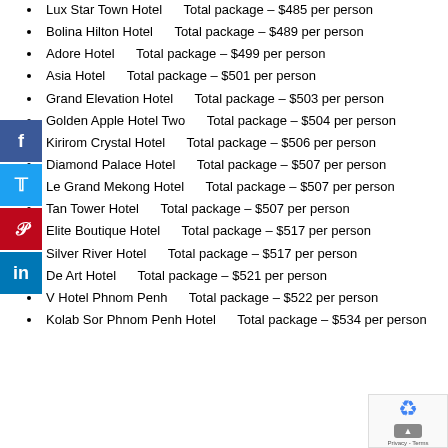Lux Star Town Hotel    Total package – $485 per person
Bolina Hilton Hotel    Total package – $489 per person
Adore Hotel    Total package – $499 per person
Asia Hotel    Total package – $501 per person
Grand Elevation Hotel    Total package – $503 per person
Golden Apple Hotel Two    Total package – $504 per person
Kirirom Crystal Hotel    Total package – $506 per person
Diamond Palace Hotel    Total package – $507 per person
Le Grand Mekong Hotel    Total package – $507 per person
Tan Tower Hotel    Total package – $507 per person
Elite Boutique Hotel    Total package – $517 per person
Silver River Hotel    Total package – $517 per person
De Art Hotel    Total package – $521 per person
V Hotel Phnom Penh    Total package – $522 per person
Kolab Sor Phnom Penh Hotel    Total package – $534 per person